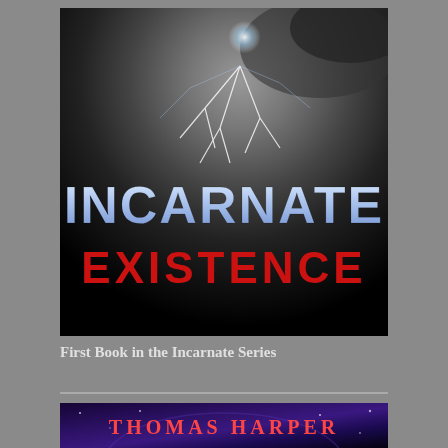[Figure (illustration): Book cover for 'Incarnate Existence' — dark background with cracked stone/ground and lightning effect at top, large white/blue distressed text 'INCARNATE' and bold red text 'EXISTENCE' below]
First Book in the Incarnate Series
[Figure (illustration): Bottom portion of a second book cover showing 'THOMAS HARPER' in red text on a dark purple/blue starfield background]